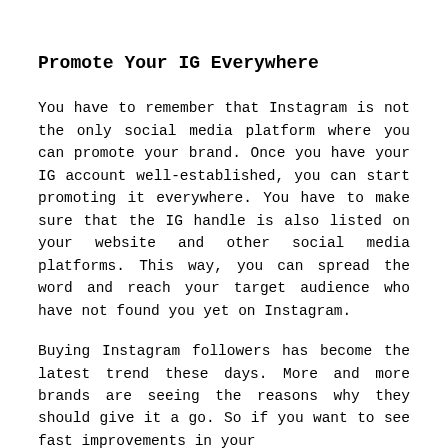Promote Your IG Everywhere
You have to remember that Instagram is not the only social media platform where you can promote your brand. Once you have your IG account well-established, you can start promoting it everywhere. You have to make sure that the IG handle is also listed on your website and other social media platforms. This way, you can spread the word and reach your target audience who have not found you yet on Instagram.
Buying Instagram followers has become the latest trend these days. More and more brands are seeing the reasons why they should give it a go. So if you want to see fast improvements in your